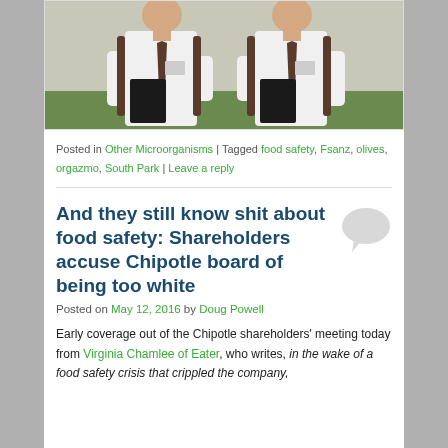[Figure (photo): Two men in white shirts and dark ties wearing name badges and holding books, outdoors]
Posted in Other Microorganisms | Tagged food safety, Fsanz, olives, orgazmo, South Park | Leave a reply
And they still know shit about food safety: Shareholders accuse Chipotle board of being too white
Posted on May 12, 2016 by Doug Powell
Early coverage out of the Chipotle shareholders' meeting today from Virginia Chamlee of Eater, who writes, in the wake of a food safety crisis that crippled the company,